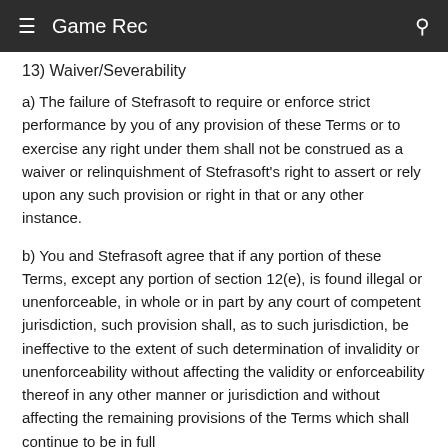≡ Game Rec
13) Waiver/Severability
a) The failure of Stefrasoft to require or enforce strict performance by you of any provision of these Terms or to exercise any right under them shall not be construed as a waiver or relinquishment of Stefrasoft's right to assert or rely upon any such provision or right in that or any other instance.
b) You and Stefrasoft agree that if any portion of these Terms, except any portion of section 12(e), is found illegal or unenforceable, in whole or in part by any court of competent jurisdiction, such provision shall, as to such jurisdiction, be ineffective to the extent of such determination of invalidity or unenforceability without affecting the validity or enforceability thereof in any other manner or jurisdiction and without affecting the remaining provisions of the Terms which shall continue to be in full...